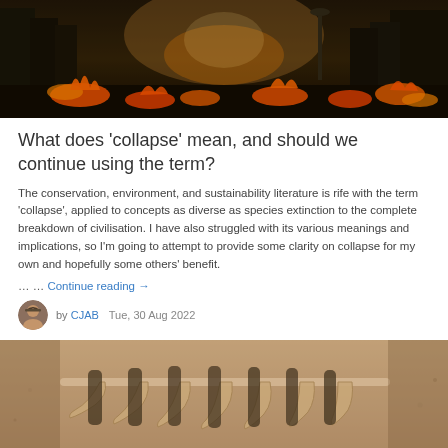[Figure (photo): Dark apocalyptic city street scene with fires burning on the ground and orange flames visible throughout a dark urban environment with buildings and street lights.]
What does 'collapse' mean, and should we continue using the term?
The conservation, environment, and sustainability literature is rife with the term 'collapse', applied to concepts as diverse as species extinction to the complete breakdown of civilisation. I have also struggled with its various meanings and implications, so I'm going to attempt to provide some clarity on collapse for my own and hopefully some others' benefit.
… …  Continue reading →
by CJAB   Tue, 30 Aug 2022
[Figure (photo): Close-up photo of a skeletal animal carcass, appearing to be stripes of a tiger or similar large cat, lying on a dusty/sandy surface, viewed from above.]